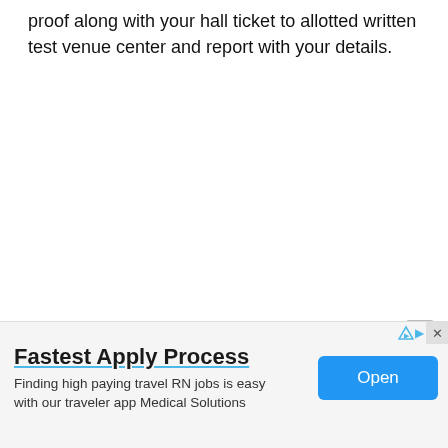proof along with your hall ticket to allotted written test venue center and report with your details.
[Figure (screenshot): Advertisement banner at bottom of page. Shows 'Fastest Apply Process' in bold with underline, text 'Finding high paying travel RN jobs is easy with our traveler app Medical Solutions', a blue 'Open' button on the right, and a close (X) button in the top-right area above the ad banner.]